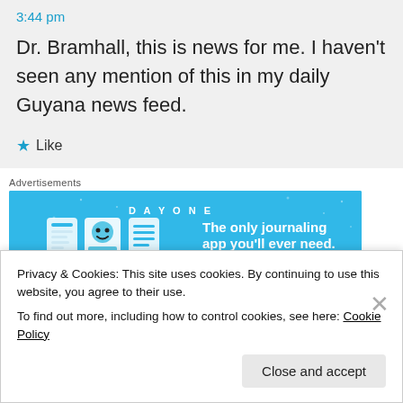3:44 pm
Dr. Bramhall, this is news for me. I haven't seen any mention of this in my daily Guyana news feed.
★ Like
Advertisements
[Figure (screenshot): DAY ONE app advertisement banner: blue background with icons and text 'The only journaling app you'll ever need.']
REPORT THIS AD
Privacy & Cookies: This site uses cookies. By continuing to use this website, you agree to their use. To find out more, including how to control cookies, see here: Cookie Policy
Close and accept